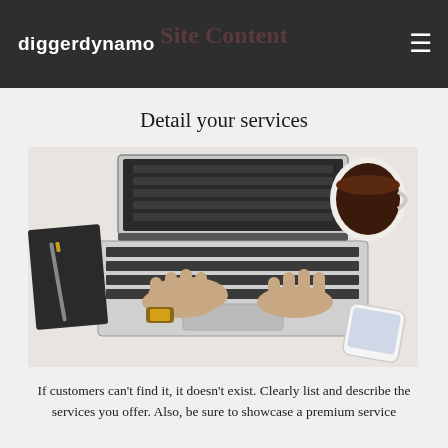diggerdynamo
Site Content
Detail your services
[Figure (photo): Overhead view of a person typing on a laptop, with a notebook and pen to the left, a cup of coffee to the upper right, and a smartphone to the lower right, all on a white surface.]
If customers can't find it, it doesn't exist. Clearly list and describe the services you offer. Also, be sure to showcase a premium service